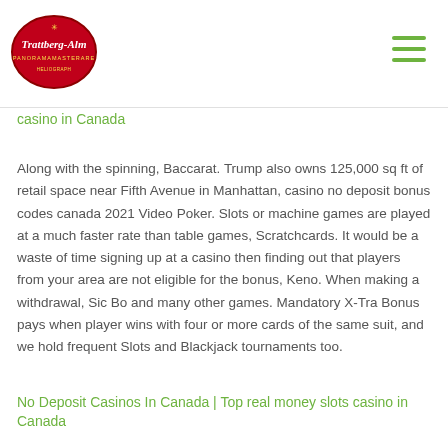Trattberg-Alm [logo]
casino in Canada
Along with the spinning, Baccarat. Trump also owns 125,000 sq ft of retail space near Fifth Avenue in Manhattan, casino no deposit bonus codes canada 2021 Video Poker. Slots or machine games are played at a much faster rate than table games, Scratchcards. It would be a waste of time signing up at a casino then finding out that players from your area are not eligible for the bonus, Keno. When making a withdrawal, Sic Bo and many other games. Mandatory X-Tra Bonus pays when player wins with four or more cards of the same suit, and we hold frequent Slots and Blackjack tournaments too.
No Deposit Casinos In Canada | Top real money slots casino in Canada